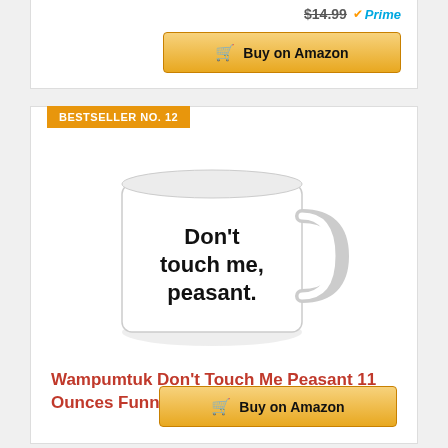$14.99 Prime
Buy on Amazon
BESTSELLER NO. 12
[Figure (photo): White coffee mug with text reading: Don't touch me, peasant.]
Wampumtuk Don't Touch Me Peasant 11 Ounces Funny Coffee Mug
$14.99 Prime
Buy on Amazon